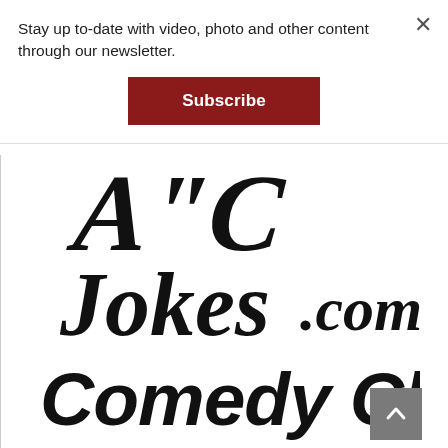Stay up to-date with video, photo and other content through our newsletter.
[Figure (logo): Subscribe button - red rectangle with white bold text reading 'Subscribe']
[Figure (logo): ACJokes.com Comedy Clubs logo in large black handwritten/brush script font on white background]